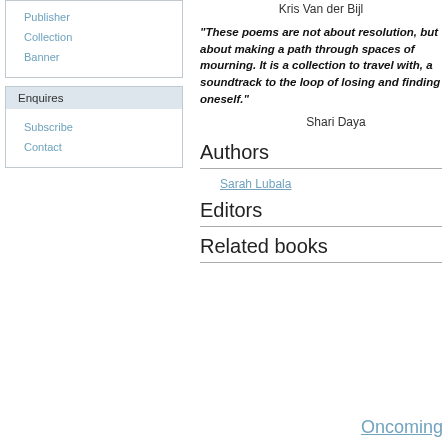Publisher
Collection
Banner
Enquires
Subscribe
Contact
Kris Van der Bijl
"These poems are not about resolution, but about making a path through spaces of mourning. It is a collection to travel with, a soundtrack to the loop of losing and finding oneself."
Shari Daya
Authors
Sarah Lubala
Editors
Related books
Oncoming